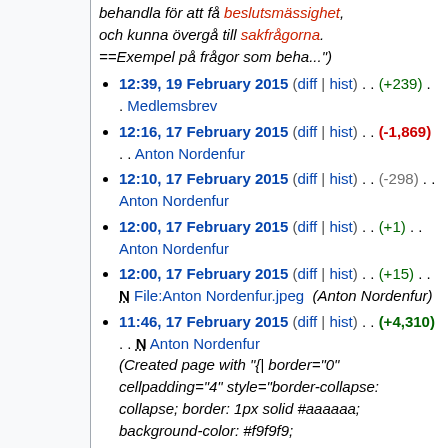behandla för att få beslutsmässighet, och kunna övergå till sakfrågorna. ==Exempel på frågor som beha...")
12:39, 19 February 2015 (diff | hist) . . (+239) . . Medlemsbrev
12:16, 17 February 2015 (diff | hist) . . (-1,869) . . Anton Nordenfur
12:10, 17 February 2015 (diff | hist) . . (-298) . . Anton Nordenfur
12:00, 17 February 2015 (diff | hist) . . (+1) . . Anton Nordenfur
12:00, 17 February 2015 (diff | hist) . . (+15) . . N File:Anton Nordenfur.jpeg (Anton Nordenfur)
11:46, 17 February 2015 (diff | hist) . . (+4,310) . . N Anton Nordenfur (Created page with "{| border="0" cellpadding="4" style="border-collapse: collapse; border: 1px solid #aaaaaa; background-color: #f9f9f9;